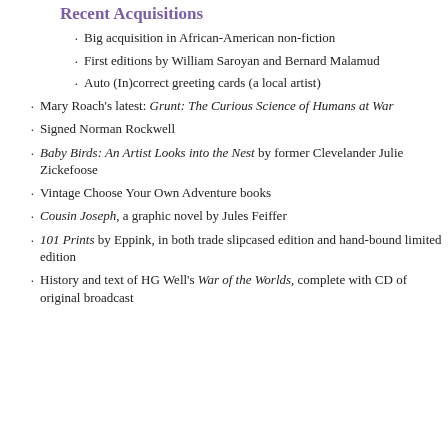Recent Acquisitions
Big acquisition in African-American non-fiction
First editions by William Saroyan and Bernard Malamud
Auto (In)correct greeting cards (a local artist)
Mary Roach’s latest: Grunt: The Curious Science of Humans at War
Signed Norman Rockwell
Baby Birds: An Artist Looks into the Nest by former Clevelander Julie Zickefoose
Vintage Choose Your Own Adventure books
Cousin Joseph, a graphic novel by Jules Feiffer
101 Prints by Eppink, in both trade slipcased edition and hand-bound limited edition
History and text of HG Well’s War of the Worlds, complete with CD of original broadcast